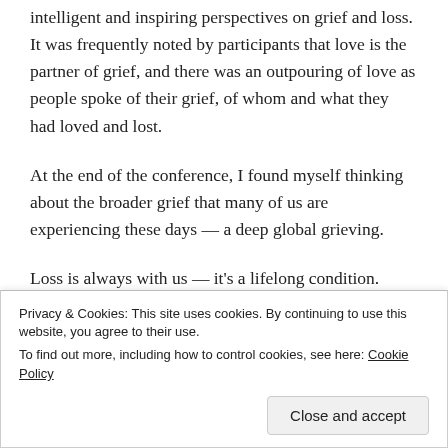intelligent and inspiring perspectives on grief and loss. It was frequently noted by participants that love is the partner of grief, and there was an outpouring of love as people spoke of their grief, of whom and what they had loved and lost.
At the end of the conference, I found myself thinking about the broader grief that many of us are experiencing these days — a deep global grieving.
Loss is always with us — it's a lifelong condition. Judith
Privacy & Cookies: This site uses cookies. By continuing to use this website, you agree to their use.
To find out more, including how to control cookies, see here: Cookie Policy
Close and accept